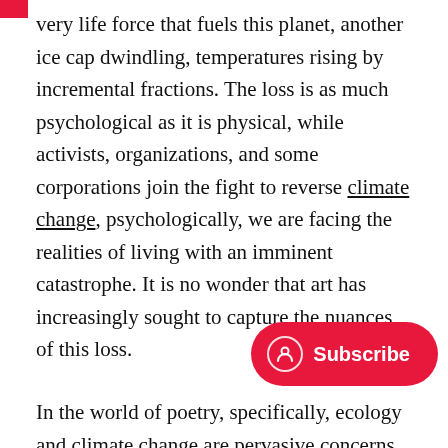very life force that fuels this planet, another ice cap dwindling, temperatures rising by incremental fractions. The loss is as much psychological as it is physical, while activists, organizations, and some corporations join the fight to reverse climate change, psychologically, we are facing the realities of living with an imminent catastrophe. It is no wonder that art has increasingly sought to capture the nuances of this loss.

In the world of poetry, specifically, ecology and climate change are pervasive concerns that are increasingly being explored by poets in beautiful and heartbreaking ways. Perhaps it is something about the elusive nature of poetry that allows for the exploration of some yet mysterious as the natural world. Contemporary eco-poetry often captures the psychological